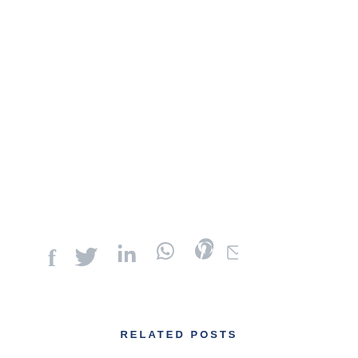[Figure (infographic): Social media share icons row: Facebook, Twitter, LinkedIn, WhatsApp, Pinterest, Email — all in light grey]
RELATED POSTS